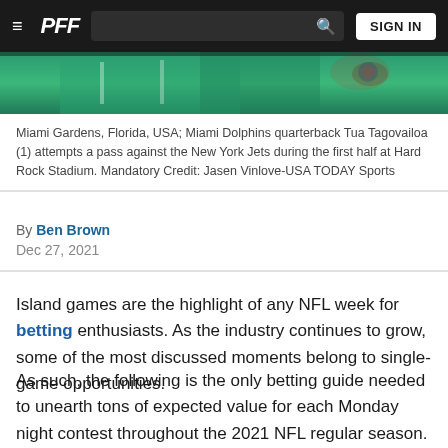PFF — SIGN IN
[Figure (photo): Miami Dolphins players in teal jerseys, partial view]
Miami Gardens, Florida, USA; Miami Dolphins quarterback Tua Tagovailoa (1) attempts a pass against the New York Jets during the first half at Hard Rock Stadium. Mandatory Credit: Jasen Vinlove-USA TODAY Sports
By Ben Brown
Dec 27, 2021
Island games are the highlight of any NFL week for betting enthusiasts. As the industry continues to grow, some of the most discussed moments belong to single-game opportunities.
As such, the following is the only betting guide needed to unearth tons of expected value for each Monday night contest throughout the 2021 NFL regular season.